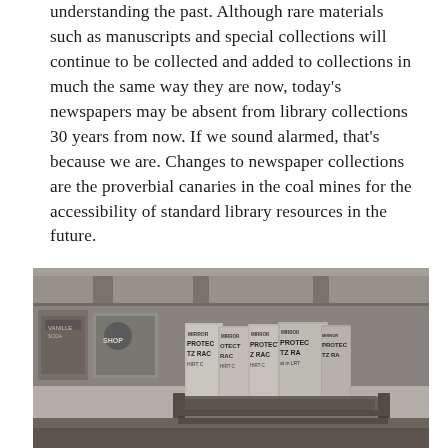understanding the past. Although rare materials such as manuscripts and special collections will continue to be collected and added to collections in much the same way they are now, today's newspapers may be absent from library collections 30 years from now. If we sound alarmed, that's because we are. Changes to newspaper collections are the proverbial canaries in the coal mines for the accessibility of standard library resources in the future.
[Figure (photo): Black and white photograph showing a newspaper rack or stand with multiple folded newspapers visible. The newspapers appear to have text reading 'MIRROR', 'PROTECT', 'Z RACK', 'HIRT C' and similar partial text on their covers. The image has a vintage, grainy quality.]